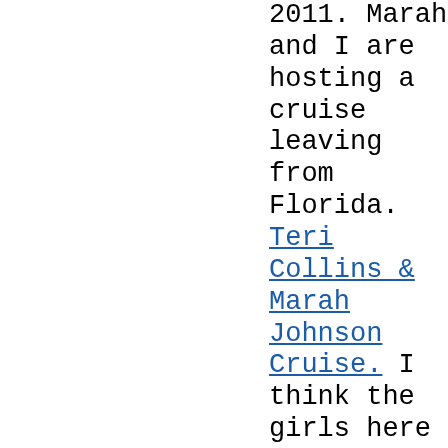2011. Marah and I are hosting a cruise leaving from Florida. Teri Collins & Marah Johnson Cruise. I think the girls here like to cruise. I have had several women who drove here from FL to